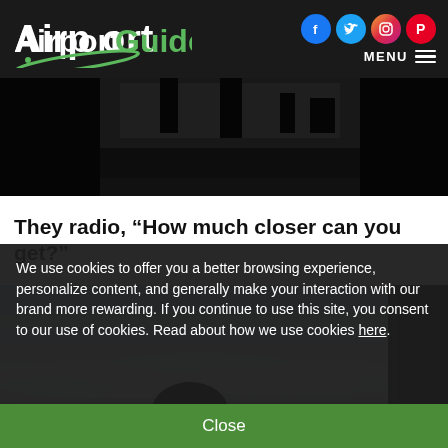AirportGuide
[Figure (photo): Dark cockpit silhouette photograph, partially visible, top of article]
They radio, “How much closer can you get?”
[Figure (photo): Aerial photograph showing a person in a cockpit with a cloud sea visible through the window, and a dark panel on the right side]
We use cookies to offer you a better browsing experience, personalize content, and generally make your interaction with our brand more rewarding. If you continue to use this site, you consent to our use of cookies. Read about how we use cookies here.
Close